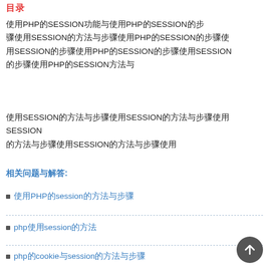目录
使用PHP的SESSION功能与使用PHP的SESSION的步骤使用SESSION的方法与步骤使用PHP的SESSION的步骤使用SESSION的步骤使用PHP的SESSION的步骤使用PHP的SESSION方法与
使用SESSION的方法与步骤使用SESSION的方法与步骤使用SESSION的方法与步骤使用SESSION的方法与步骤使用
相关问题与解答:
使用PHP的session的方法与步骤
php使用session的方法
php的cookie与session的方法与步骤